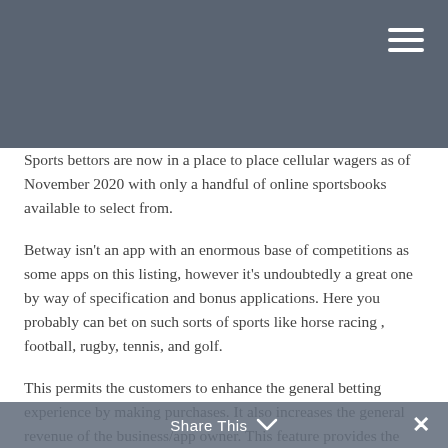Sports bettors are now in a place to place cellular wagers as of November 2020 with only a handful of online sportsbooks available to select from.
Betway isn't an app with an enormous base of competitions as some apps on this listing, however it's undoubtedly a great one by way of specification and bonus applications. Here you probably can bet on such sorts of sports like horse racing , football, rugby, tennis, and golf.
This permits the customers to enhance the general betting experience by making purchases. It also increases the general revenue of the business/app owner. This feature provides the consumer with reside feed and real-time updates about different matches and leagues. User account and user registration are
Share This ∨  ✕